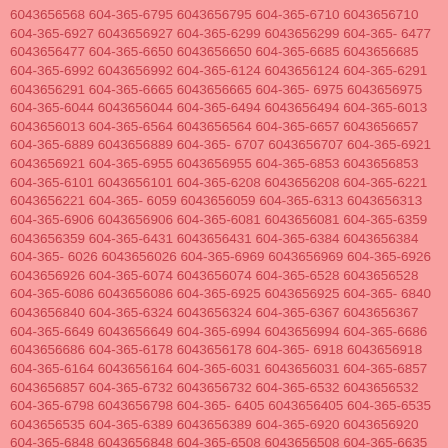6043656568 604-365-6795 6043656795 604-365-6710 6043656710 604-365-6927 6043656927 604-365-6299 6043656299 604-365-6477 6043656477 604-365-6650 6043656650 604-365-6685 6043656685 604-365-6992 6043656992 604-365-6124 6043656124 604-365-6291 6043656291 604-365-6665 6043656665 604-365-6975 6043656975 604-365-6044 6043656044 604-365-6494 6043656494 604-365-6013 6043656013 604-365-6564 6043656564 604-365-6657 6043656657 604-365-6889 6043656889 604-365-6707 6043656707 604-365-6921 6043656921 604-365-6955 6043656955 604-365-6853 6043656853 604-365-6101 6043656101 604-365-6208 6043656208 604-365-6221 6043656221 604-365-6059 6043656059 604-365-6313 6043656313 604-365-6906 6043656906 604-365-6081 6043656081 604-365-6359 6043656359 604-365-6431 6043656431 604-365-6384 6043656384 604-365-6026 6043656026 604-365-6969 6043656969 604-365-6926 6043656926 604-365-6074 6043656074 604-365-6528 6043656528 604-365-6086 6043656086 604-365-6925 6043656925 604-365-6840 6043656840 604-365-6324 6043656324 604-365-6367 6043656367 604-365-6649 6043656649 604-365-6994 6043656994 604-365-6686 6043656686 604-365-6178 6043656178 604-365-6918 6043656918 604-365-6164 6043656164 604-365-6031 6043656031 604-365-6857 6043656857 604-365-6732 6043656732 604-365-6532 6043656532 604-365-6798 6043656798 604-365-6405 6043656405 604-365-6535 6043656535 604-365-6389 6043656389 604-365-6920 6043656920 604-365-6848 6043656848 604-365-6508 6043656508 604-365-6635 6043656635 604-365-6182 6043656182 604-365-6505 6043656505 604-365-6314